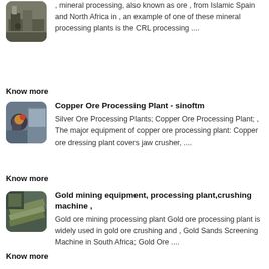[Figure (photo): Industrial mineral processing equipment thumbnail]
, mineral processing, also known as ore , from Islamic Spain and North Africa in , an example of one of these mineral processing plants is the CRL processing ....
Know more
[Figure (photo): Workers at copper ore processing plant thumbnail]
Copper Ore Processing Plant - sinoftm
Silver Ore Processing Plants; Copper Ore Processing Plant; , The major equipment of copper ore processing plant: Copper ore dressing plant covers jaw crusher, ....
Know more
[Figure (photo): Gold mining conveyor belt equipment thumbnail]
Gold mining equipment, processing plant,crushing machine ,
Gold ore mining processing plant Gold ore processing plant is widely used in gold ore crushing and , Gold Sands Screening Machine in South Africa; Gold Ore ....
Know more